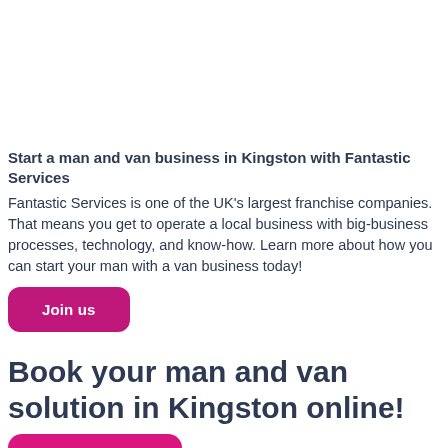Start a man and van business in Kingston with Fantastic Services
Fantastic Services is one of the UK's largest franchise companies. That means you get to operate a local business with big-business processes, technology, and know-how. Learn more about how you can start your man with a van business today!
Join us
Book your man and van solution in Kingston online!
Book now